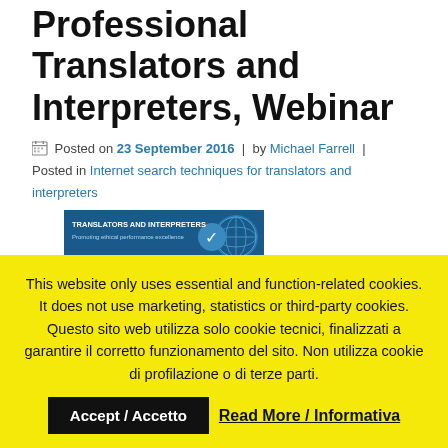Professional Translators and Interpreters, Webinar
Posted on 23 September 2016 | by Michael Farrell | Posted in Internet search techniques for translators and interpreters
[Figure (screenshot): Partial banner image for translators and interpreters webinar]
This website only uses essential and function-related cookies. It does not use marketing, statistics or third-party cookies. Questo sito web utilizza solo cookie tecnici, finalizzati a garantire il corretto funzionamento del sito. Non utilizza cookie di profilazione o di terze parti.